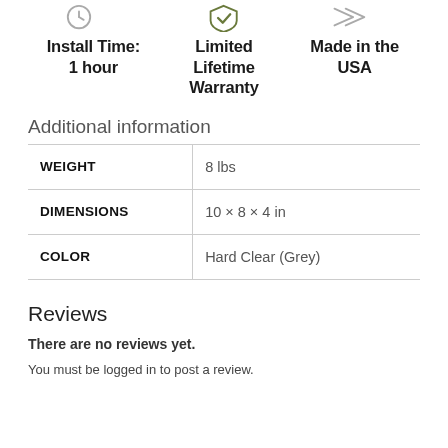[Figure (infographic): Three icons at top: clock/timer icon, leaf/badge icon, and arrow/chevron icon representing Install Time, Limited Lifetime Warranty, and Made in the USA respectively]
Install Time:
1 hour
Limited Lifetime Warranty
Made in the USA
Additional information
| WEIGHT | 8 lbs |
| DIMENSIONS | 10 × 8 × 4 in |
| COLOR | Hard Clear (Grey) |
Reviews
There are no reviews yet.
You must be logged in to post a review.